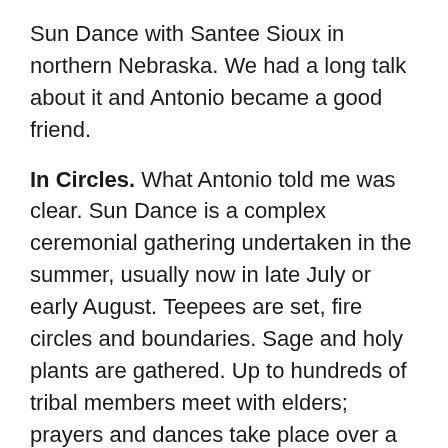Sun Dance with Santee Sioux in northern Nebraska. We had a long talk about it and Antonio became a good friend.
In Circles. What Antonio told me was clear. Sun Dance is a complex ceremonial gathering undertaken in the summer, usually now in late July or early August. Teepees are set, fire circles and boundaries. Sage and holy plants are gathered. Up to hundreds of tribal members meet with elders; prayers and dances take place over a series of days. The penultimate ceremony centers (literally) around the tall timber tree trunk placed in the center of the gathering. Those who have been accepted to formal Sun Dance ceremony